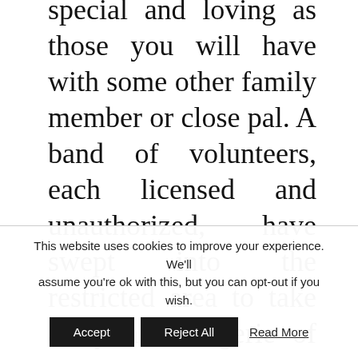special and loving as those you will have with some other family member or close pal. A band of volunteers, each licensed and unauthorized, have swept into the restricted area to take away a menagerie of pets by any means obligatory.
Some gamers report they prefer grinding on pets the identical degree as they are, as the battles do not final as lengthy they
This website uses cookies to improve your experience. We'll assume you're ok with this, but you can opt-out if you wish.